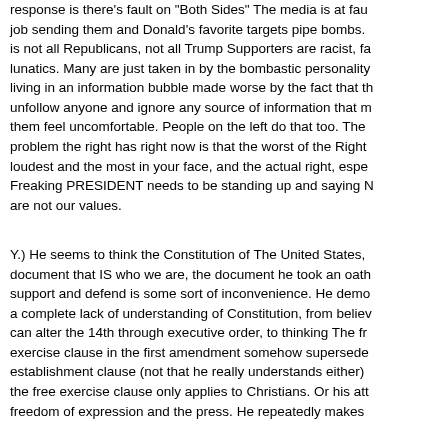response is there's fault on "Both Sides" The media is at fault job sending them and Donald's favorite targets pipe bombs. is not all Republicans, not all Trump Supporters are racist, fa lunatics. Many are just taken in by the bombastic personality living in an information bubble made worse by the fact that th unfollow anyone and ignore any source of information that m them feel uncomfortable. People on the left do that too. The problem the right has right now is that the worst of the Right loudest and the most in your face, and the actual right, espe Freaking PRESIDENT needs to be standing up and saying N are not our values.
Y.) He seems to think the Constitution of The United States, document that IS who we are, the document he took an oath support and defend is some sort of inconvenience. He demo a complete lack of understanding of Constitution, from believ can alter the 14th through executive order, to thinking The fr exercise clause in the first amendment somehow supersede establishment clause (not that he really understands either) the free exercise clause only applies to Christians. Or his att freedom of expression and the press. He repeatedly makes